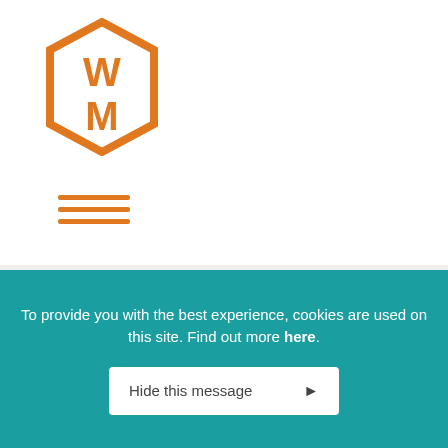[Figure (logo): WM hexagon logo in orange outline with orange W and M letters inside]
[Figure (other): Hamburger menu icon with three orange horizontal lines]
Non smoking rooms available,
Radio in all bedrooms,
Tea & coffee making facilities in all bedrooms,
Telephone in all bedrooms
Catering
To provide you with the best experience, cookies are used on this site. Find out more here.
Hide this message ▶